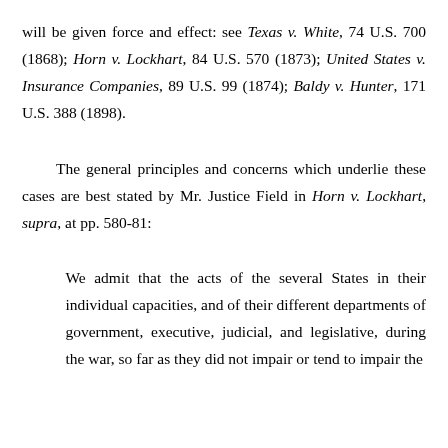will be given force and effect: see Texas v. White, 74 U.S. 700 (1868); Horn v. Lockhart, 84 U.S. 570 (1873); United States v. Insurance Companies, 89 U.S. 99 (1874); Baldy v. Hunter, 171 U.S. 388 (1898).
The general principles and concerns which underlie these cases are best stated by Mr. Justice Field in Horn v. Lockhart, supra, at pp. 580-81:
We admit that the acts of the several States in their individual capacities, and of their different departments of government, executive, judicial, and legislative, during the war, so far as they did not impair or tend to impair the